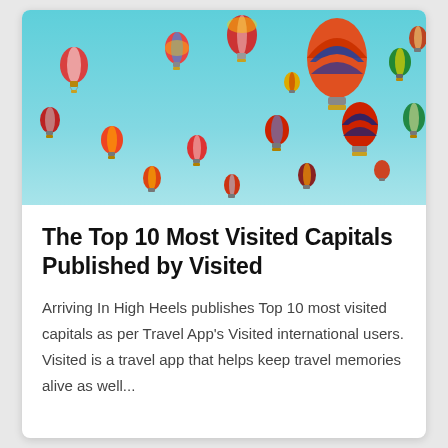[Figure (photo): Photo of many colorful hot air balloons floating against a bright turquoise/teal sky]
The Top 10 Most Visited Capitals Published by Visited
Arriving In High Heels publishes Top 10 most visited capitals as per Travel App's Visited international users. Visited is a travel app that helps keep travel memories alive as well...